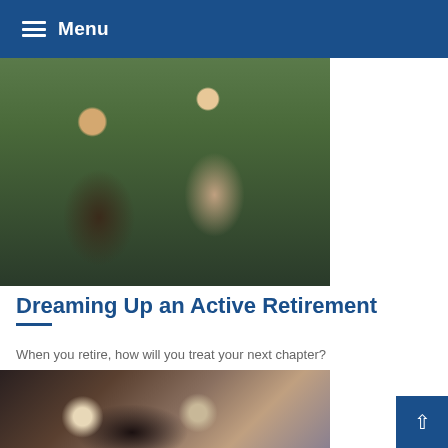Menu
[Figure (photo): Two older adults high-fiving outdoors, smiling and celebrating, in a park setting with trees in background]
Dreaming Up an Active Retirement
When you retire, how will you treat your next chapter?
[Figure (photo): Two older Asian adults, a woman and a man, smiling together, appearing to share a meal or coffee]